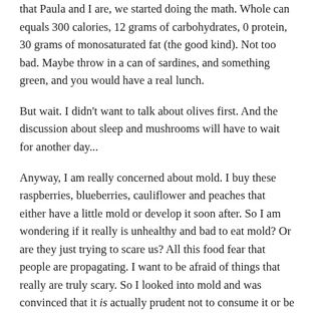that Paula and I are, we started doing the math. Whole can equals 300 calories, 12 grams of carbohydrates, 0 protein, 30 grams of monosaturated fat (the good kind). Not too bad. Maybe throw in a can of sardines, and something green, and you would have a real lunch.
But wait. I didn't want to talk about olives first. And the discussion about sleep and mushrooms will have to wait for another day...
Anyway, I am really concerned about mold. I buy these raspberries, blueberries, cauliflower and peaches that either have a little mold or develop it soon after. So I am wondering if it really is unhealthy and bad to eat mold? Or are they just trying to scare us? All this food fear that people are propagating. I want to be afraid of things that really are truly scary. So I looked into mold and was convinced that it is actually prudent not to consume it or be exposed to it. While this is not a